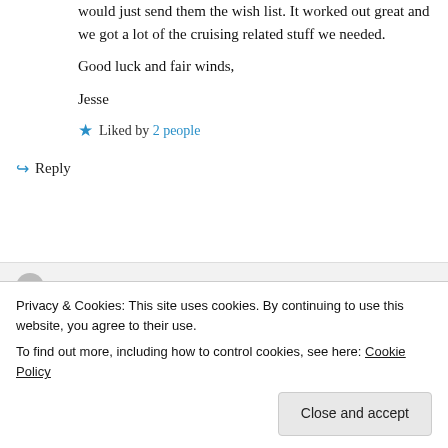would just send them the wish list. It worked out great and we got a lot of the cruising related stuff we needed.
Good luck and fair winds,
Jesse
★ Liked by 2 people
↪ Reply
Viki Moore on December 9, 2014 at 7:00 am
Privacy & Cookies: This site uses cookies. By continuing to use this website, you agree to their use.
To find out more, including how to control cookies, see here: Cookie Policy
Close and accept